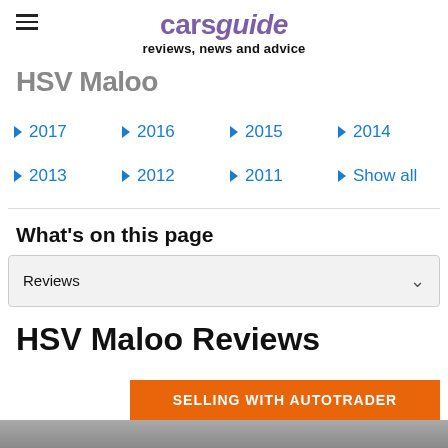carsguide reviews, news and advice
HSV Maloo
2017
2016
2015
2014
2013
2012
2011
Show all
What's on this page
Reviews
HSV Maloo Reviews
SELLING WITH AUTOTRADER